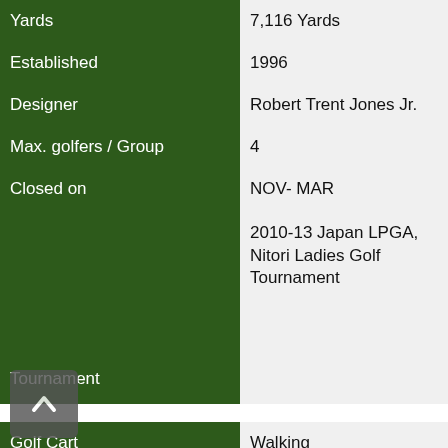| Field | Value |
| --- | --- |
| Yards | 7,116 Yards |
| Established | 1996 |
| Designer | Robert Trent Jones Jr. |
| Max. golfers / Group | 4 |
| Closed on | NOV- MAR |
| Tournament | 2010-13 Japan LPGA, Nitori Ladies Golf Tournament |
| Golf Cart | Walking |
| Golf Set | JPY 7,000   (excluded TAX) |
| Golf Shoes | JPY 1,000   (excluded TAX) |
| Umbrella | Equipped |